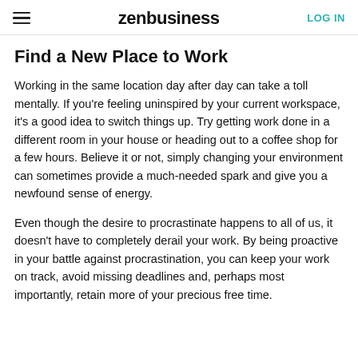zenbusiness | LOG IN
Find a New Place to Work
Working in the same location day after day can take a toll mentally. If you're feeling uninspired by your current workspace, it's a good idea to switch things up. Try getting work done in a different room in your house or heading out to a coffee shop for a few hours. Believe it or not, simply changing your environment can sometimes provide a much-needed spark and give you a newfound sense of energy.
Even though the desire to procrastinate happens to all of us, it doesn't have to completely derail your work. By being proactive in your battle against procrastination, you can keep your work on track, avoid missing deadlines and, perhaps most importantly, retain more of your precious free time.